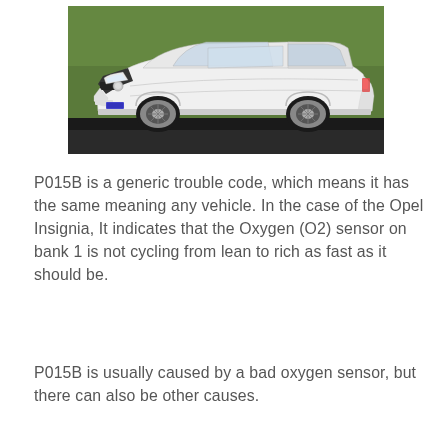[Figure (photo): White Opel Insignia estate/wagon car photographed from a front-left angle on a dark road with green hedgerow background.]
P015B is a generic trouble code, which means it has the same meaning any vehicle. In the case of the Opel Insignia, It indicates that the Oxygen (O2) sensor on bank 1 is not cycling from lean to rich as fast as it should be.
P015B is usually caused by a bad oxygen sensor, but there can also be other causes.